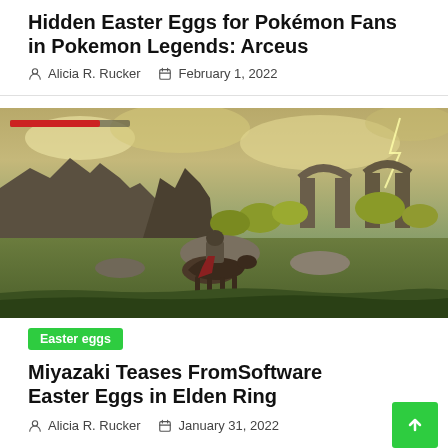Hidden Easter Eggs for Pokémon Fans in Pokemon Legends: Arceus
Alicia R. Rucker   February 1, 2022
[Figure (screenshot): In-game screenshot from Elden Ring showing a warrior on horseback riding through a ruined stone landscape with arches and yellow-green trees under a dramatic storm-lit sky.]
Easter eggs
Miyazaki Teases FromSoftware Easter Eggs in Elden Ring
Alicia R. Rucker   January 31, 2022